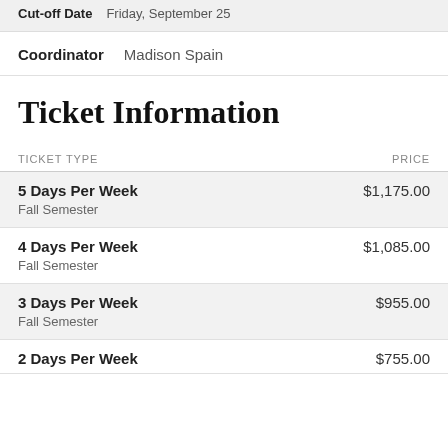Cut-off Date   Friday, September 25
Coordinator   Madison Spain
Ticket Information
| TICKET TYPE | PRICE |
| --- | --- |
| 5 Days Per Week
Fall Semester | $1,175.00 |
| 4 Days Per Week
Fall Semester | $1,085.00 |
| 3 Days Per Week
Fall Semester | $955.00 |
| 2 Days Per Week | $755.00 |